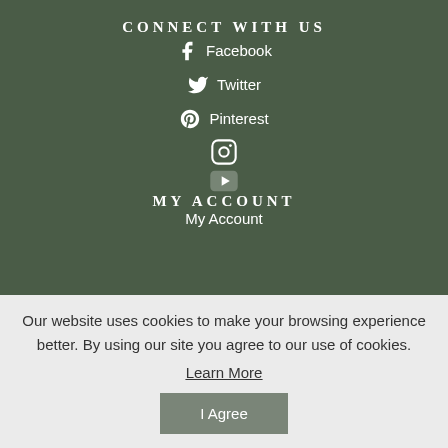CONNECT WITH US
Facebook
Twitter
Pinterest
(Instagram icon)
(YouTube icon)
MY ACCOUNT
My Account
Our website uses cookies to make your browsing experience better. By using our site you agree to our use of cookies.
Learn More
I Agree